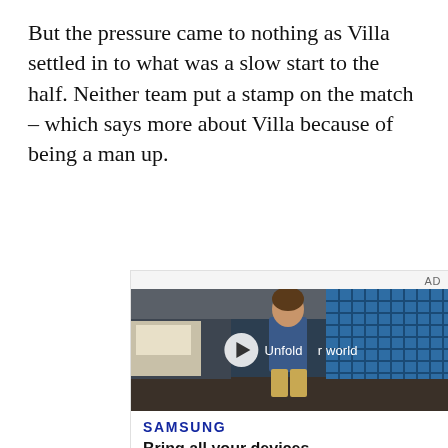But the pressure came to nothing as Villa settled in to what was a slow start to the half. Neither team put a stamp on the match – which says more about Villa because of being a man up.
[Figure (other): Samsung advertisement featuring a video player with a young man walking in a cafeteria setting. Text overlay reads 'Unfold your world' with a play button. Below the video: SAMSUNG logo and tagline 'Bring all your devices']